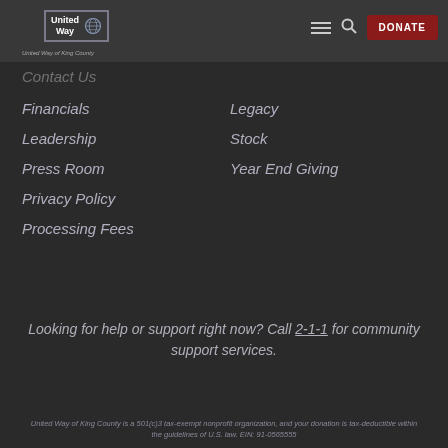[Figure (logo): United Way of King County logo with globe icon and border]
Contact Us
Financials
Leadership
Press Room
Privacy Policy
Processing Fees
Legacy
Stock
Year End Giving
Looking for help or support right now? Call 2-1-1 for community support services.
United Way of King County is a 501(c)3 tax-exempt nonprofit organization, and your donation is tax-deductible within the guidelines of U.S. law. EIN: 91-0565555